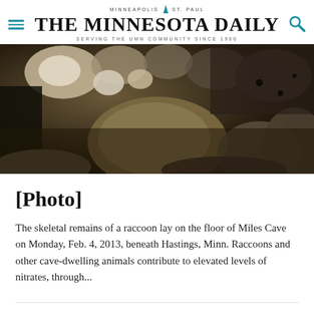MINNEAPOLIS  |  ST. PAUL
THE MINNESOTA DAILY
SERVING THE UMN COMMUNITY SINCE 1900
[Figure (photo): Close-up photo of rocks and cave floor, dark tones, showing skeletal remains area of Miles Cave beneath Hastings, Minnesota. Taken Monday, Feb. 4, 2013.]
[Photo]
The skeletal remains of a raccoon lay on the floor of Miles Cave on Monday, Feb. 4, 2013, beneath Hastings, Minn. Raccoons and other cave-dwelling animals contribute to elevated levels of nitrates, through...